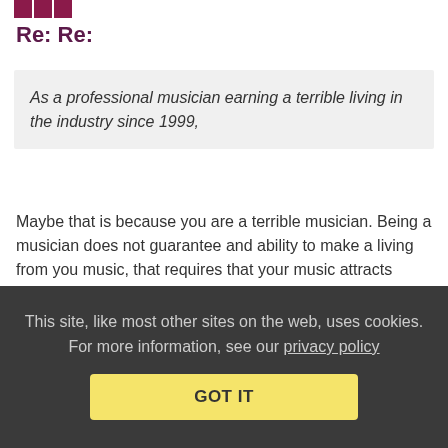[Figure (logo): Website logo (partial, top-left corner)]
Re: Re:
As a professional musician earning a terrible living in the industry since 1999,
Maybe that is because you are a terrible musician. Being a musician does not guarantee and ability to make a living from you music, that requires that your music attracts enough fans to support you in the style you think you deserve.
Reply | View in chronology
[Figure (other): Row of icon buttons at bottom of comment]
This site, like most other sites on the web, uses cookies. For more information, see our privacy policy
GOT IT